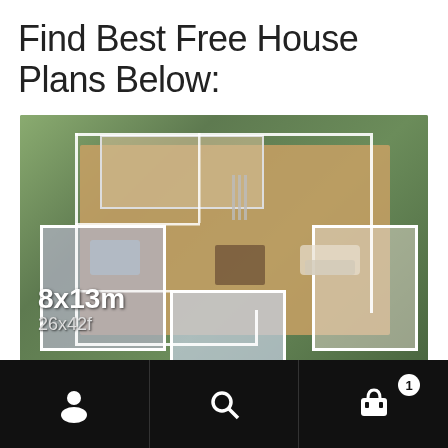Find Best Free House Plans Below:
[Figure (illustration): 3D aerial view of a house floor plan layout showing rooms, kitchen, living area, bedrooms. Overlay text reads '8x13m' and '26x42f'.]
House Plans 8x13m Full Plan 3Beds
SALE
$49.90  $0.00
Navigation bar with person icon, search icon, and cart icon with badge showing 1